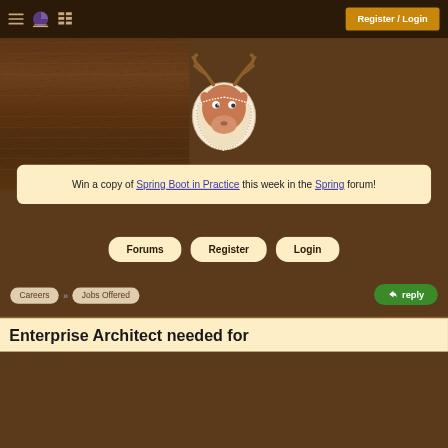Register / Login
[Figure (illustration): Cartoon moose head mounted trophy illustration with antlers, white outlined shield-shaped mount, large round eyes, brown fur coloring]
Win a copy of Spring Boot in Practice this week in the Spring forum!
Forums
Register
Login
Careers
Jobs Offered
reply
Enterprise Architect needed for